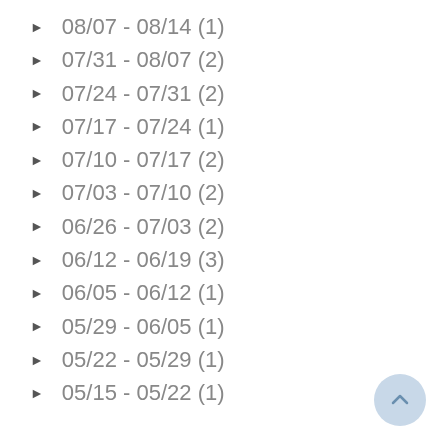08/07 - 08/14 (1)
07/31 - 08/07 (2)
07/24 - 07/31 (2)
07/17 - 07/24 (1)
07/10 - 07/17 (2)
07/03 - 07/10 (2)
06/26 - 07/03 (2)
06/12 - 06/19 (3)
06/05 - 06/12 (1)
05/29 - 06/05 (1)
05/22 - 05/29 (1)
05/15 - 05/22 (1)